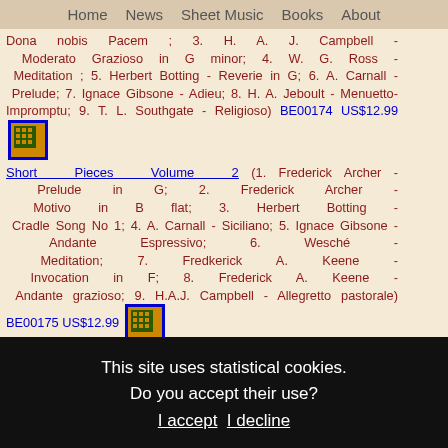Home  News  Sheet Music  Books  About
Dona nobis Pacem ; 3. H. A. J. Campbell - Moderato Grazioso in G minor; 4. W. G. Ross - Meditation ; 5. Herbert Botting - Reverie in G; 6. A. Carnall - Prelude; 7. Ignace Gibsone - Adieu; 8. H. A. Jeboult - Menuetto-Impromptu; 9. T. L. Southgate - Religioso) BE00174 US$12.99
Short Pieces Volume 2 (1. Frederick Archer - Prelude in G; 2. Frederick Archer - Motivo in B flat; 3. Herbert Botting - Cradle Song No 1; 4. A. Carnall - Siciliano; 5. Ignace Gibsone - Andante Espressivo; 6. Wesché - Meditation; 7. Fredkerick A. Keene - Invocation in F; 8. Frederick A. Keene - Andante grazioso; 9. H.A.J. Campbell - Allegretto pastorale) BE00175 US$12.99
Short Pieces Volume 3 (1. H. A. Jeboult - Postlude Impromptu; 2. W. C. Filby - Calm in Sorrow; 3. Hamilton
This site uses statistical cookies. Do you accept their use? I accept  I decline